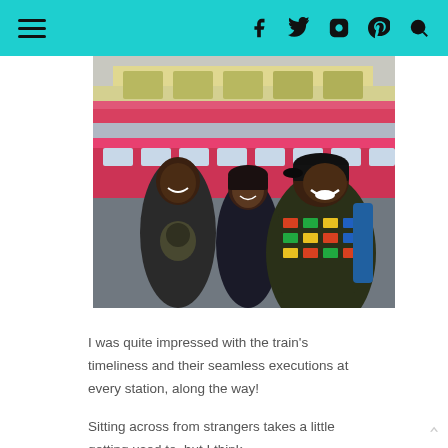Navigation header with hamburger menu and social icons (Facebook, Twitter, Instagram, Pinterest, Search)
[Figure (photo): Top portion of a photo showing what appears to be a building or train station with a yellow/cream colored structure and a red/pink train visible]
[Figure (photo): Three people smiling and posing for a selfie in front of a red/pink train. Two men and one woman, all appearing to be of African descent. The man on the right is wearing a colorful traditional patterned jacket and a black cap with a backpack. The man on the left has a graphic tee. The woman in the middle has short hair and a dark jacket.]
I was quite impressed with the train's timeliness and their seamless executions at every station, along the way!
Sitting across from strangers takes a little getting used to, but I think